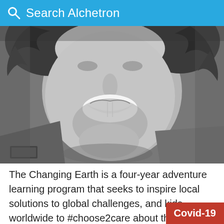Search Alchetron
[Figure (photo): Black and white close-up portrait of a smiling man with curly hair and stubble, wearing a jacket with a patch.]
The Changing Earth is a four-year adventure learning program that seeks to inspire local solutions to global challenges, and kids worldwide to #choose2care about their environment, culture, and community. Led by Doering, a small team of explorers is tackling unbeaten paths acro...
Covid-19